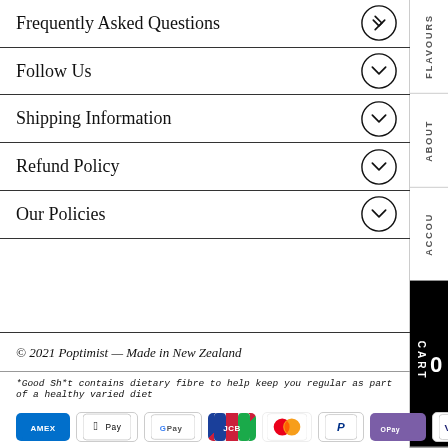Frequently Asked Questions
Follow Us
Shipping Information
Refund Policy
Our Policies
© 2021 Poptimist — Made in New Zealand
*Good Sh*t contains dietary fibre to help keep you regular as part of a healthy varied diet
[Figure (other): Payment method icons: American Express, Apple Pay, Google Pay, JCB, Mastercard, PayPal, OPay, Visa]